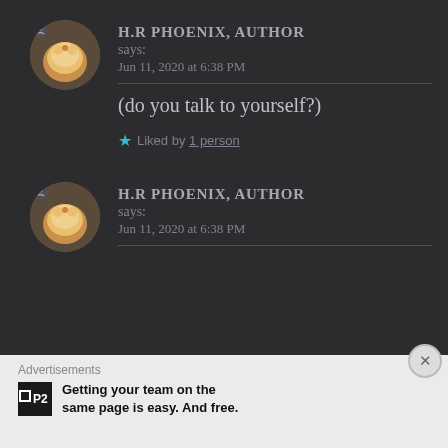H.R PHOENIX, AUTHOR says: Jun 11, 2020 at 6:38 PM
(do you talk to yourself?)
★ Liked by 1 person
H.R PHOENIX, AUTHOR says: Jun 11, 2020 at 6:38 PM
Advertisements
Getting your team on the same page is easy. And free.